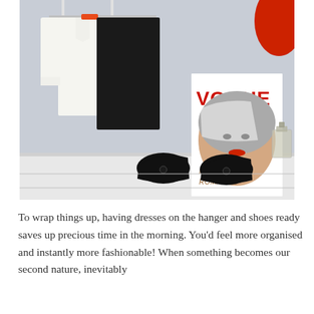[Figure (photo): A fashion flat lay photo showing a white blouse and black skirt on a hanger against a light grey wall, with black flats/loafers and a Vogue magazine on a white surface below. A red hat is partially visible at the top right. A small perfume bottle is also visible.]
To wrap things up, having dresses on the hanger and shoes ready saves up precious time in the morning. You'd feel more organised and instantly more fashionable! When something becomes our second nature, inevitably